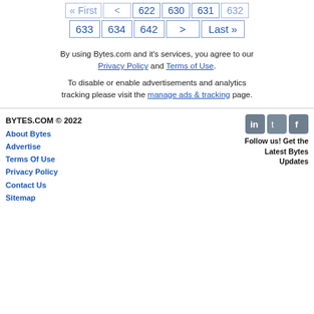« First  < 622 630 631 632
633 634 642 > Last »
By using Bytes.com and it's services, you agree to our Privacy Policy and Terms of Use.

To disable or enable advertisements and analytics tracking please visit the manage ads & tracking page.
BYTES.COM © 2022
About Bytes
Advertise
Terms Of Use
Privacy Policy
Contact Us
Sitemap
Follow us! Get the Latest Bytes Updates